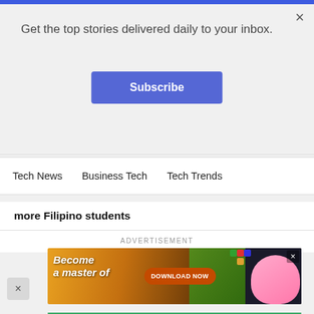Get the top stories delivered daily to your inbox.
Subscribe
×
Tech News   Business Tech   Tech Trends
more Filipino students
ADVERTISEMENT
[Figure (screenshot): Ad banner: 'Become a master of' with 'DOWNLOAD NOW' button on orange/dark background with mobile game imagery]
[Figure (screenshot): Ad banner: 'Shoot and blast bubbles! Play Now' with animated bear character on green/teal background, labeled 'Bubble Shooter Animal World']